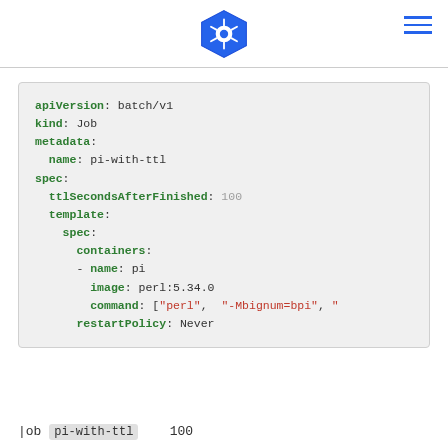Kubernetes logo and navigation
[Figure (screenshot): YAML code block showing a Kubernetes Job spec with apiVersion: batch/v1, kind: Job, metadata name pi-with-ttl, spec ttlSecondsAfterFinished: 100, template spec containers name pi, image perl:5.34.0, command ["perl", "-Mbignum=bpi", ...], restartPolicy: Never]
Job pi-with-ttl   100